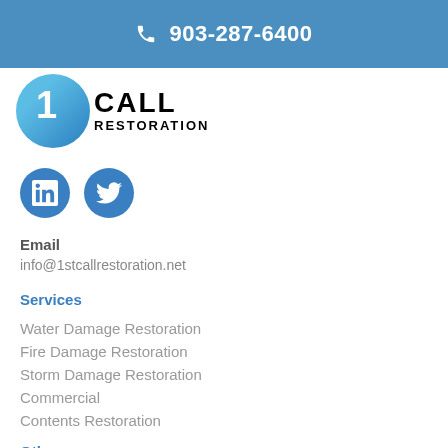903-287-6400
[Figure (logo): 1st Call Restoration company logo with blue circle and bold text]
[Figure (illustration): LinkedIn and Twitter social media icons as blue circles]
Email
info@1stcallrestoration.net
Services
Water Damage Restoration
Fire Damage Restoration
Storm Damage Restoration
Commercial
Contents Restoration
Other section (partially visible)